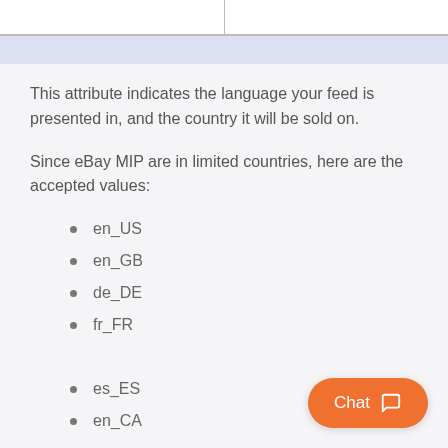This attribute indicates the language your feed is presented in, and the country it will be sold on.
Since eBay MIP are in limited countries, here are the accepted values:
en_US
en_GB
de_DE
fr_FR
es_ES
en_CA